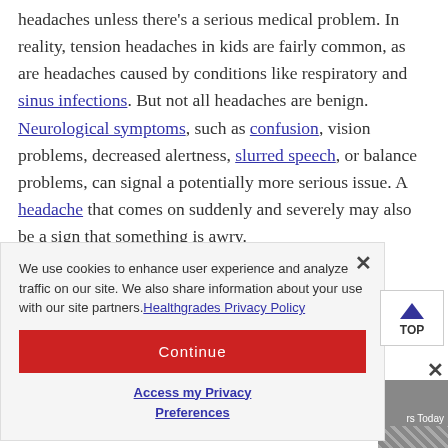headaches unless there's a serious medical problem. In reality, tension headaches in kids are fairly common, as are headaches caused by conditions like respiratory and sinus infections. But not all headaches are benign. Neurological symptoms, such as confusion, vision problems, decreased alertness, slurred speech, or balance problems, can signal a potentially more serious issue. A headache that comes on suddenly and severely may also be a sign that something is awry.
We use cookies to enhance user experience and analyze traffic on our site. We also share information about your use with our site partners. Healthgrades Privacy Policy
Continue
Access my Privacy Preferences